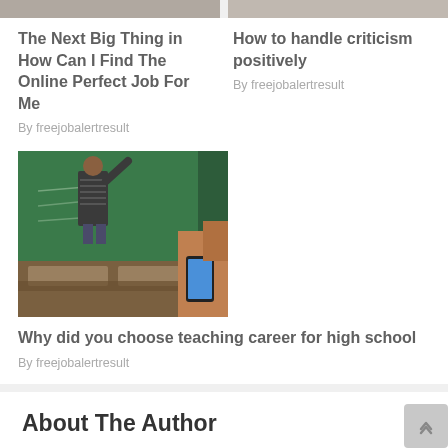[Figure (photo): Partial top edge of two article thumbnail images]
The Next Big Thing in How Can I Find The Online Perfect Job For Me
By freejobalertresult
How to handle criticism positively
By freejobalertresult
[Figure (photo): Classroom photo: student using phone while teacher writes on chalkboard]
Why did you choose teaching career for high school
By freejobalertresult
About The Author
[Figure (logo): Teal leaf/chevron logo shape and freejobalertresult text in teal]